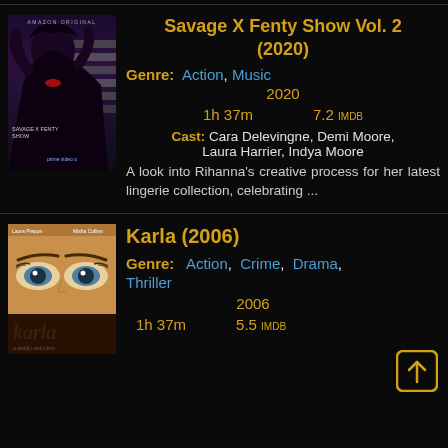[Figure (photo): Movie poster for Savage X Fenty Show Vol. 2 (2020) - Amazon Original, showing a woman with dramatic lighting and horizontal stripes]
Savage X Fenty Show Vol. 2 (2020)
Genre: Action, Music
2020
1h 37m   7.2 IMDB
Cast: Cara Delevingne, Demi Moore, Laura Harrier, Indya Moore
A look into Rihanna's creative process for her latest lingerie collection, celebrating ...
[Figure (photo): Movie poster for Karla (2006) - showing close-up of eyes with text 'karla' below]
Karla (2006)
Genre: Action, Crime, Drama, Thriller
2006
1h 37m   5.5 IMDB